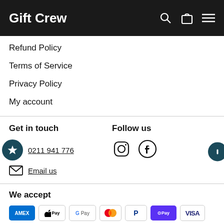Gift Crew
Refund Policy
Terms of Service
Privacy Policy
My account
Get in touch
0211 941 776
Email us
Follow us
[Figure (logo): Instagram and Facebook social media icons]
We accept
[Figure (infographic): Payment method logos: American Express, Apple Pay, Google Pay, Mastercard, PayPal, Shop Pay, Visa]
Currency